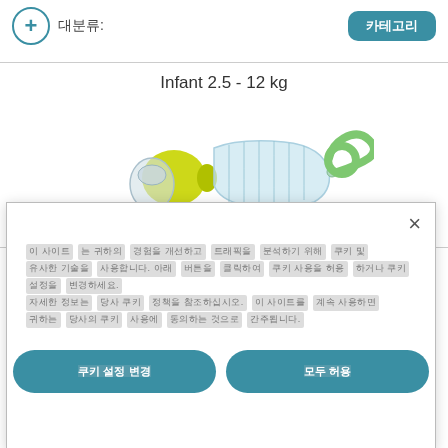+ 대분류:  [button: 카테고리]
Infant 2.5 - 12 kg
[Figure (photo): Infant resuscitator bag-valve-mask device with yellow squeeze bulb, clear bag reservoir, green oxygen tubing, and transparent face mask. Laerdal infant resuscitator.]
All of Laerdal's resuscitators are Latex-free to prevent
[Korean text - modal dialog body text with cookie/privacy notice]
[button: 쿠키 설정 변경]  [button: 모두 허용]